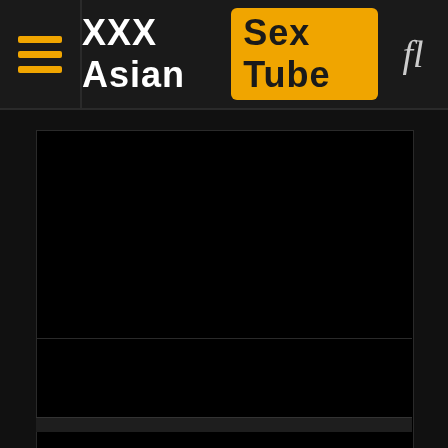XXX Asian Sex Tube
[Figure (screenshot): Dark video player area with black background, two stacked video regions separated by a thin line, and a bottom control bar strip.]